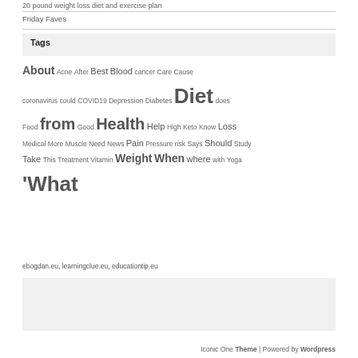20 pound weight loss diet and exercise plan
Friday Faves
Tags
About Acne After Best Blood cancer Care Cause coronavirus could COVID19 Depression Diabetes Diet does Food from Good Health Help High Keto Know Loss Medical More Muscle Need News Pain Pressure risk Says Should Study Take This Treatment Vitamin Weight When where with Yoga ‘What
ebogdan.eu, learningclue.eu, educationtip.eu
Iconic One Theme | Powered by Wordpress